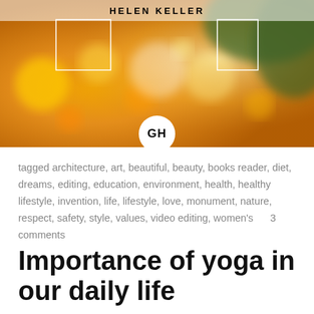[Figure (photo): Blurred bokeh background with yellow/orange flowers and green foliage. Contains a bold text label 'HELEN KELLER' at the top center, two white corner bracket boxes overlaid, and a white circle with 'GH' monogram in the center-bottom area.]
tagged architecture, art, beautiful, beauty, books reader, diet, dreams, editing, education, environment, health, healthy lifestyle, invention, life, lifestyle, love, monument, nature, respect, safety, style, values, video editing, women's     3 comments
Importance of yoga in our daily life